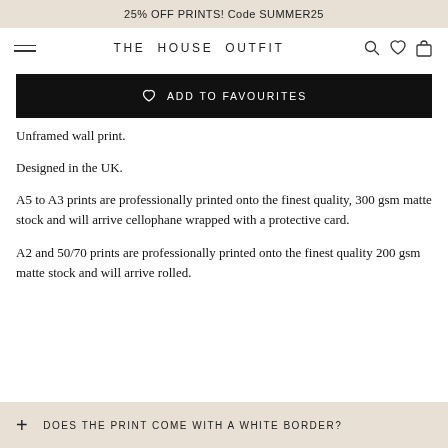25% OFF PRINTS! Code SUMMER25
[Figure (screenshot): Navigation bar with hamburger menu, THE HOUSE OUTFIT logo, search, heart/favourites, and shopping bag icons]
[Figure (screenshot): Black button with heart icon and text ADD TO FAVOURITES]
Unframed wall print.
Designed in the UK.
A5 to A3 prints are professionally printed onto the finest quality, 300 gsm matte stock and will arrive cellophane wrapped with a protective card.
A2 and 50/70 prints are professionally printed onto the finest quality 200 gsm matte stock and will arrive rolled.
[Figure (screenshot): Accordion bar with plus icon and text DOES THE PRINT COME WITH A WHITE BORDER?]